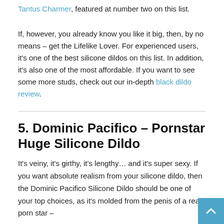Tantus Charmer, featured at number two on this list.
If, however, you already know you like it big, then, by no means – get the Lifelike Lover. For experienced users, it's one of the best silicone dildos on this list. In addition, it's also one of the most affordable. If you want to see some more studs, check out our in-depth black dildo review.
5. Dominic Pacifico – Pornstar Huge Silicone Dildo
It's veiny, it's girthy, it's lengthy… and it's super sexy. If you want absolute realism from your silicone dildo, then the Dominic Pacifico Silicone Dildo should be one of your top choices, as it's molded from the penis of a real porn star –